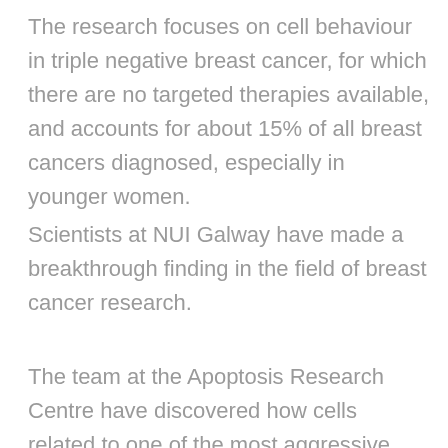The research focuses on cell behaviour in triple negative breast cancer, for which there are no targeted therapies available, and accounts for about 15% of all breast cancers diagnosed, especially in younger women.
Scientists at NUI Galway have made a breakthrough finding in the field of breast cancer research.
The team at the Apoptosis Research Centre have discovered how cells related to one of the most aggressive forms of breast cancer